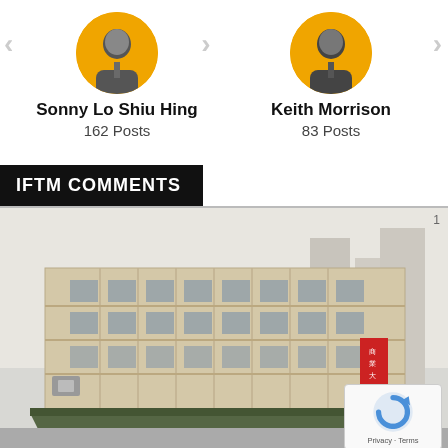[Figure (photo): Profile photo of Sonny Lo Shiu Hing with orange circle background]
Sonny Lo Shiu Hing
162 Posts
[Figure (photo): Profile photo of Keith Morrison with orange circle background]
Keith Morrison
83 Posts
IFTM COMMENTS
[Figure (photo): Photograph of a large multi-storey colonial-style building in Macau with a green canopy entrance, surrounded by urban streets and signage. A reCAPTCHA badge appears in the bottom-right corner.]